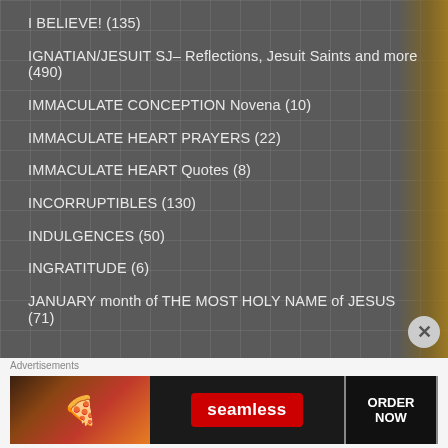I BELIEVE! (135)
IGNATIAN/JESUIT SJ– Reflections, Jesuit Saints and more (490)
IMMACULATE CONCEPTION Novena (10)
IMMACULATE HEART PRAYERS (22)
IMMACULATE HEART Quotes (8)
INCORRUPTIBLES (130)
INDULGENCES (50)
INGRATITUDE (6)
JANUARY month of THE MOST HOLY NAME of JESUS (71)
Advertisements
[Figure (infographic): Seamless food delivery advertisement banner showing pizza slices, Seamless logo badge in red, and ORDER NOW button]